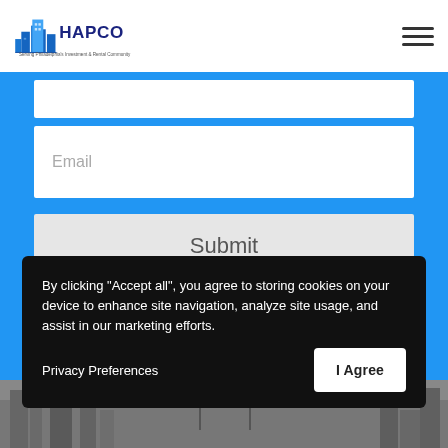[Figure (logo): HAPCO Philadelphia logo with skyline icon and tagline 'Serving Philadelphia's Investment & Rental Community']
Email
Submit
By clicking "Accept all", you agree to storing cookies on your device to enhance site navigation, analyze site usage, and assist in our marketing efforts.
Privacy Preferences
I Agree